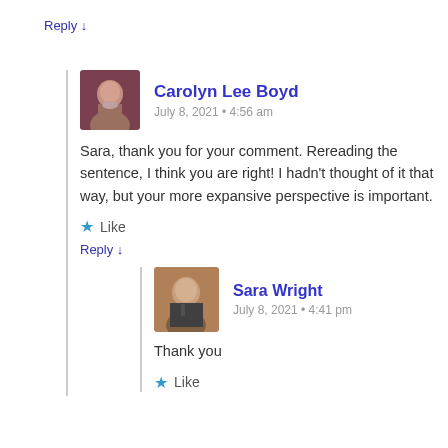Reply ↓
Carolyn Lee Boyd
July 8, 2021 • 4:56 am
Sara, thank you for your comment. Rereading the sentence, I think you are right! I hadn't thought of it that way, but your more expansive perspective is important.
Like
Reply ↓
Sara Wright
July 8, 2021 • 4:41 pm
Thank you
Like